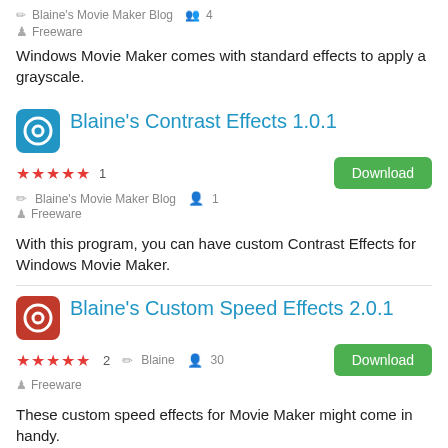Windows Movie Maker comes with standard effects to apply a grayscale.
Blaine's Contrast Effects 1.0.1
★★★★★ 1   Blaine's Movie Maker Blog   1   Freeware
With this program, you can have custom Contrast Effects for Windows Movie Maker.
Blaine's Custom Speed Effects 2.0.1
★★★★★ 2   Blaine   30   Freeware
These custom speed effects for Movie Maker might come in handy.
Non-reviewed